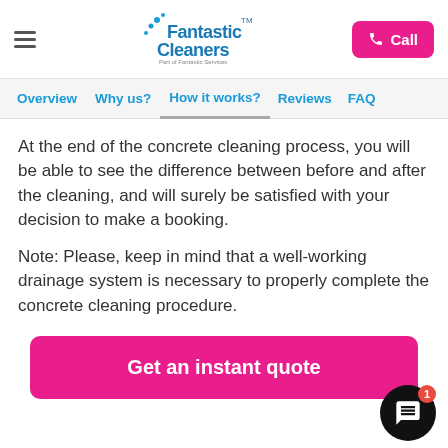Fantastic Cleaners - Part of Fantastic Services
Overview | Why us? | How it works? | Reviews | FAQ
At the end of the concrete cleaning process, you will be able to see the difference between before and after the cleaning, and will surely be satisfied with your decision to make a booking.
Note: Please, keep in mind that a well-working drainage system is necessary to properly complete the concrete cleaning procedure.
[Figure (other): Get an instant quote CTA button (pink/magenta rounded rectangle)]